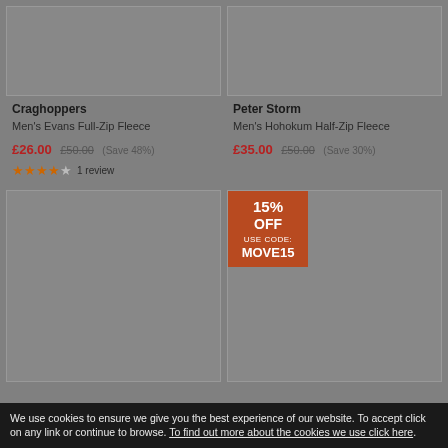[Figure (photo): Top-left product image placeholder (grey box) for Craghoppers Evans Full-Zip Fleece]
[Figure (photo): Top-right product image placeholder (grey box) for Peter Storm Hohokum Half-Zip Fleece]
Craghoppers
Men's Evans Full-Zip Fleece
£26.00 £50.00 (Save 48%)
★★★★☆ 1 review
Peter Storm
Men's Hohokum Half-Zip Fleece
£35.00 £50.00 (Save 30%)
[Figure (photo): Bottom-left product image placeholder (grey box)]
[Figure (photo): Bottom-right product image placeholder (grey box) with 15% OFF USE CODE MOVE15 badge]
We use cookies to ensure we give you the best experience of our website. To accept click on any link or continue to browse. To find out more about the cookies we use click here.